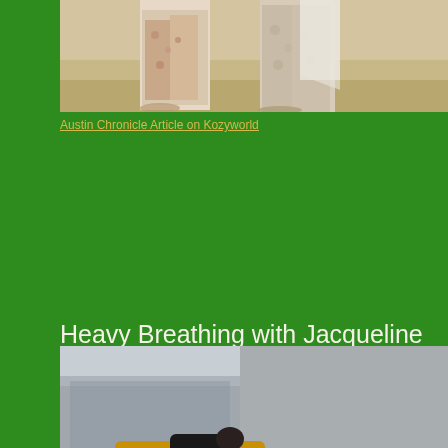[Figure (photo): Partial view of two figures from the waist down, wearing patterned garments, standing on a light wooden floor. The image is cropped at the top of the page.]
Austin Chronicle Article on Kozyworld
Heavy Breathing with Jacqueline Kiyomi Gordon (2016)
Berkeley Art Museum
[Figure (photo): People lying on the floor in a museum gallery space. A yellow sofa/couch is visible in the foreground with a person resting on it. Several other people are lying on the floor around the space. The gallery has large windows and concrete walls.]